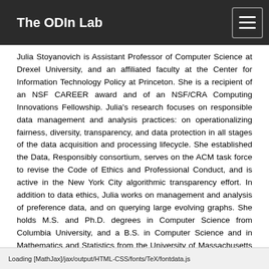The ODIn Lab
Julia Stoyanovich is Assistant Professor of Computer Science at Drexel University, and an affiliated faculty at the Center for Information Technology Policy at Princeton. She is a recipient of an NSF CAREER award and of an NSF/CRA Computing Innovations Fellowship. Julia's research focuses on responsible data management and analysis practices: on operationalizing fairness, diversity, transparency, and data protection in all stages of the data acquisition and processing lifecycle. She established the Data, Responsibly consortium, serves on the ACM task force to revise the Code of Ethics and Professional Conduct, and is active in the New York City algorithmic transparency effort. In addition to data ethics, Julia works on management and analysis of preference data, and on querying large evolving graphs. She holds M.S. and Ph.D. degrees in Computer Science from Columbia University, and a B.S. in Computer Science and in Mathematics and Statistics from the University of Massachusetts at Amherst.
Loading [MathJax]/jax/output/HTML-CSS/fonts/TeX/fontdata.js